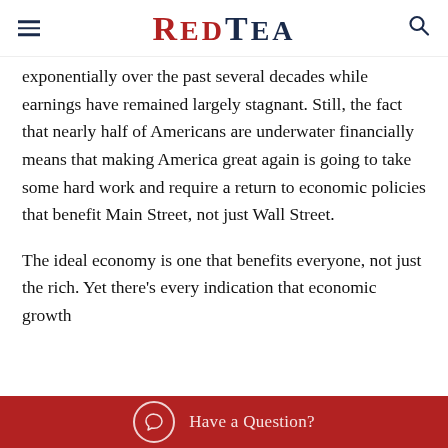≡ REDTEA 🔍
exponentially over the past several decades while earnings have remained largely stagnant. Still, the fact that nearly half of Americans are underwater financially means that making America great again is going to take some hard work and require a return to economic policies that benefit Main Street, not just Wall Street.
The ideal economy is one that benefits everyone, not just the rich. Yet there's every indication that economic growth
Have a Question?